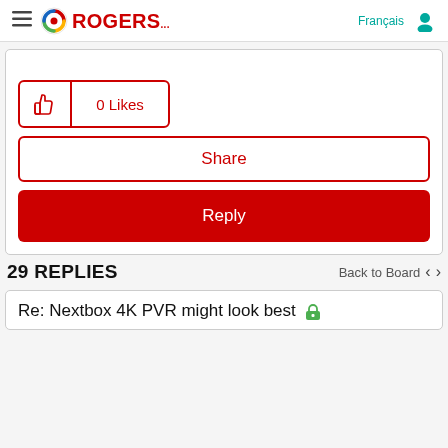ROGERS — Français (navigation header)
0 Likes
Share
Reply
29 REPLIES
Back to Board
Re: Nextbox 4K PVR might look best